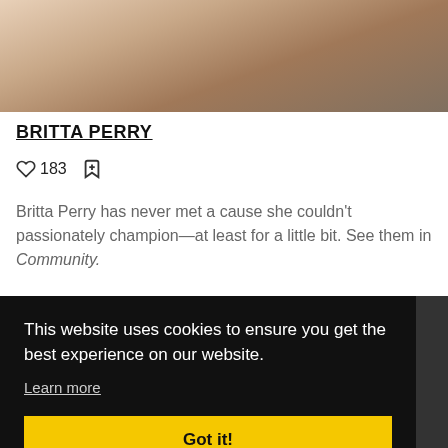[Figure (photo): Partial photo of a person showing neck and necklace area, cropped at top]
BRITTA PERRY
♡183  🔖
Britta Perry has never met a cause she couldn't passionately champion—at least for a little bit. See them in Community.
This website uses cookies to ensure you get the best experience on our website.
Learn more
Got it!
[Figure (photo): Partial photo of a person visible at the bottom of the page, cropped]